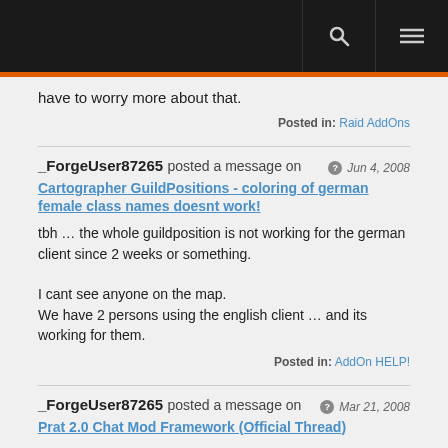[navbar with search and menu icons]
have to worry more about that.
Posted in: Raid AddOns
_ForgeUser87265 posted a message on Jun 4, 2008
Cartographer GuildPositions - coloring of german female class names doesnt work!
tbh … the whole guildposition is not working for the german client since 2 weeks or something.

I cant see anyone on the map.
We have 2 persons using the english client … and its working for them.
Posted in: AddOn HELP!
_ForgeUser87265 posted a message on Mar 21, 2008
Prat 2.0 Chat Mod Framework (Official Thread)
I just updated to 63303